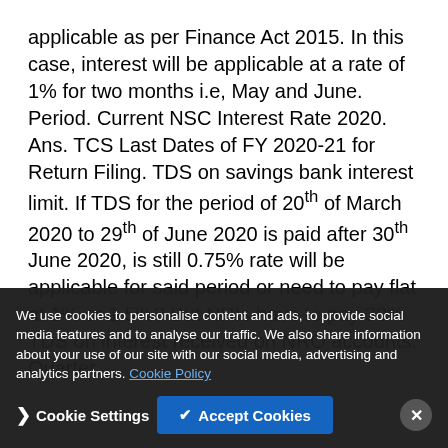applicable as per Finance Act 2015. In this case, interest will be applicable at a rate of 1% for two months i.e, May and June. Period. Current NSC Interest Rate 2020. Ans. TCS Last Dates of FY 2020-21 for Return Filing. TDS on savings bank interest limit. If TDS for the period of 20th of March 2020 to 29th of June 2020 is paid after 30th June 2020, is still 0.75% rate will be applicable for said period or need to pay flat at 1% or 1.5%? But NRIs have to pay 30% TDS on interest received on NRO accounts. Quarter.
Therefore, TDS on the amount paid or credited during the period from 14th May, 2020 to 31st March, 2021 shall be deducted at the reduced rates specified in the table in para 1 above. Also, the relaxation in tax rates effective from 14th May 2020 to 31st March...
We use cookies to personalise content and ads, to provide social media features and to analyse our traffic. We also share information about your use of our site with our social media, advertising and analytics partners. Cookie Policy